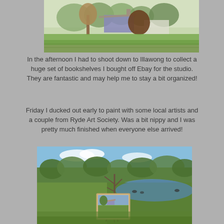[Figure (illustration): Watercolor painting of a rural farm scene with trees, a house with a tin roof, and lush green grass in the foreground.]
In the afternoon I had to shoot down to Illawong to collect a huge set of bookshelves I bought off Ebay for the studio. They are fantastic and may help me to stay a bit organized!
Friday I ducked out early to paint with some local artists and a couple from Ryde Art Society. Was a bit nippy and I was pretty much finished when everyone else arrived!
[Figure (photo): Outdoor photograph of an artist's easel with a landscape painting set up near a pond surrounded by trees and green hills under a blue sky.]